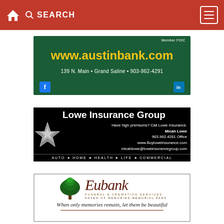🏠 SEARCH ☰
[Figure (advertisement): Austin Bank advertisement: dark green background, Member FDIC, www.austinbank.com in yellow, 139 N. Main • Grand Saline • 903-962-4291, Facebook and LinkedIn icons]
[Figure (advertisement): Lowe Insurance Group advertisement: black background with white star logo, Have high premiums? Call Lowe Insurance. Micah Lowe, 903.962.4281 Office, www.BuyloweInsurance.com, micahlowe@loweinsurancegroup.com, AUTO HOME HEALTH LIFE COMMERCIAL]
[Figure (advertisement): Eubank Funeral & Cremation Services advertisement: white background, green tree logo, Haven of Memories Memorial Park, When only memories remain, let them be beautiful]